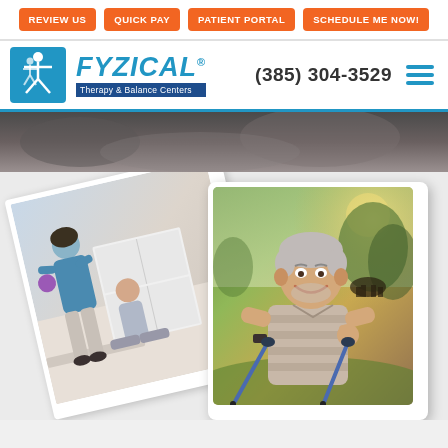REVIEW US | QUICK PAY | PATIENT PORTAL | SCHEDULE ME NOW!
[Figure (logo): FYZICAL Therapy & Balance Centers logo with blue icon]
(385) 304-3529
[Figure (photo): Dark hero banner image strip showing therapy session background]
[Figure (photo): Two overlapping photos: back photo shows a physical therapist working with a patient using a purple ball; front photo shows a smiling older man outdoors using Nordic walking poles with thumbs up]